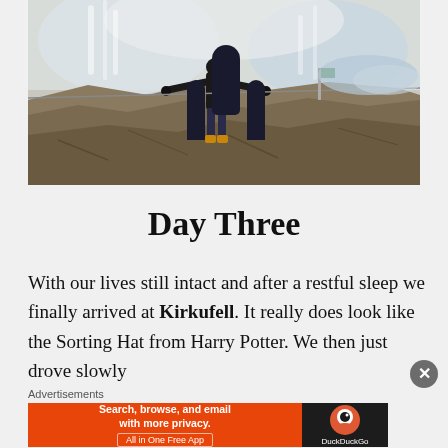[Figure (photo): Person standing with arms outstretched at a rocky waterfall landscape, wearing a black winter jacket and orange boots, with rushing water and rocky terrain in the background.]
Day Three
With our lives still intact and after a restful sleep we finally arrived at Kirkufell. It really does look like the Sorting Hat from Harry Potter. We then just drove slowly
Advertisements
[Figure (screenshot): DuckDuckGo advertisement banner: 'Search, browse, and email with more privacy. All in One Free App' with DuckDuckGo logo on the right.]